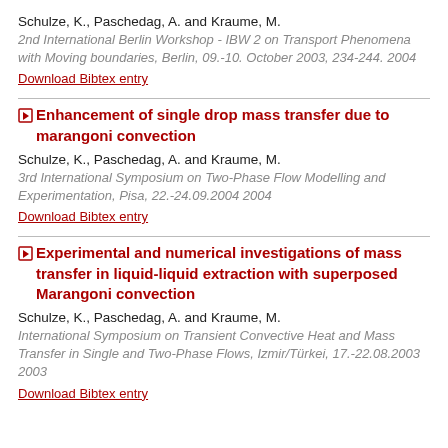Schulze, K., Paschedag, A. and Kraume, M.
2nd International Berlin Workshop - IBW 2 on Transport Phenomena with Moving boundaries, Berlin, 09.-10. October 2003, 234-244. 2004
Download Bibtex entry
Enhancement of single drop mass transfer due to marangoni convection
Schulze, K., Paschedag, A. and Kraume, M.
3rd International Symposium on Two-Phase Flow Modelling and Experimentation, Pisa, 22.-24.09.2004 2004
Download Bibtex entry
Experimental and numerical investigations of mass transfer in liquid-liquid extraction with superposed Marangoni convection
Schulze, K., Paschedag, A. and Kraume, M.
International Symposium on Transient Convective Heat and Mass Transfer in Single and Two-Phase Flows, Izmir/Türkei, 17.-22.08.2003 2003
Download Bibtex entry